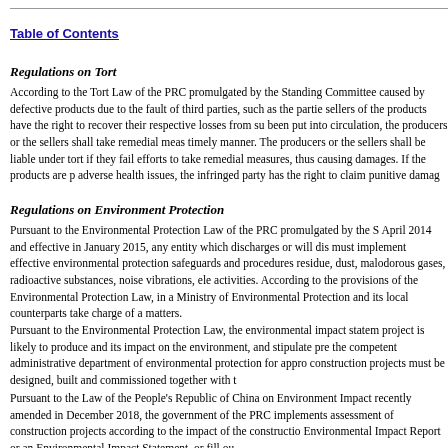Table of Contents
Regulations on Tort
According to the Tort Law of the PRC promulgated by the Standing Committee caused by defective products due to the fault of third parties, such as the partie sellers of the products have the right to recover their respective losses from su been put into circulation, the producers or the sellers shall take remedial meas timely manner. The producers or the sellers shall be liable under tort if they fail efforts to take remedial measures, thus causing damages. If the products are p adverse health issues, the infringed party has the right to claim punitive damag
Regulations on Environment Protection
Pursuant to the Environmental Protection Law of the PRC promulgated by the S April 2014 and effective in January 2015, any entity which discharges or will dis must implement effective environmental protection safeguards and procedures residue, dust, malodorous gases, radioactive substances, noise vibrations, ele activities. According to the provisions of the Environmental Protection Law, in a Ministry of Environmental Protection and its local counterparts take charge of a matters.
Pursuant to the Environmental Protection Law, the environmental impact statem project is likely to produce and its impact on the environment, and stipulate pre the competent administrative department of environmental protection for appro construction projects must be designed, built and commissioned together with t
Pursuant to the Law of the People's Republic of China on Environment Impact recently amended in December 2018, the government of the PRC implements assessment of construction projects according to the impact of the constructio Environmental Impact Report or an Environmental Impact Statement, or fill ou